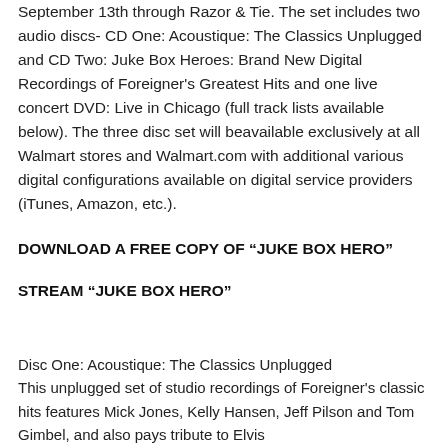September 13th through Razor & Tie. The set includes two audio discs- CD One: Acoustique: The Classics Unplugged and CD Two: Juke Box Heroes: Brand New Digital Recordings of Foreigner's Greatest Hits and one live concert DVD: Live in Chicago (full track lists available below). The three disc set will be available exclusively at all Walmart stores and Walmart.com with additional various digital configurations available on digital service providers (iTunes, Amazon, etc.).
DOWNLOAD A FREE COPY OF “JUKE BOX HERO”
STREAM “JUKE BOX HERO”
Disc One: Acoustique: The Classics Unplugged
This unplugged set of studio recordings of Foreigner's classic hits features Mick Jones, Kelly Hansen, Jeff Pilson and Tom Gimbel, and also pays tribute to Elvis